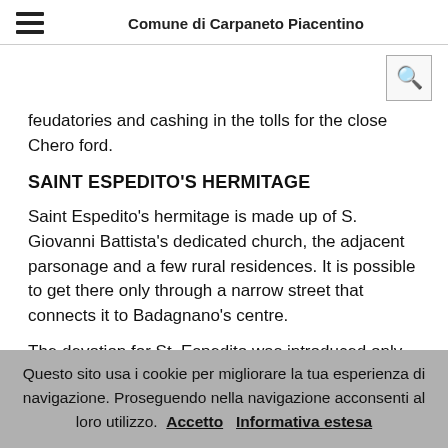Comune di Carpaneto Piacentino
feudatories and cashing in the tolls for the close Chero ford.
SAINT ESPEDITO'S HERMITAGE
Saint Espedito's hermitage is made up of S. Giovanni Battista's dedicated church, the adjacent parsonage and a few rural residences. It is possible to get there only through a narrow street that connects it to Badagnano's centre.
The devotion for St. Espedito was introduced only in
Questo sito usa i cookie per migliorare la tua esperienza di navigazione. Proseguendo nella navigazione acconsenti al loro utilizzo. Accetto Informativa estesa